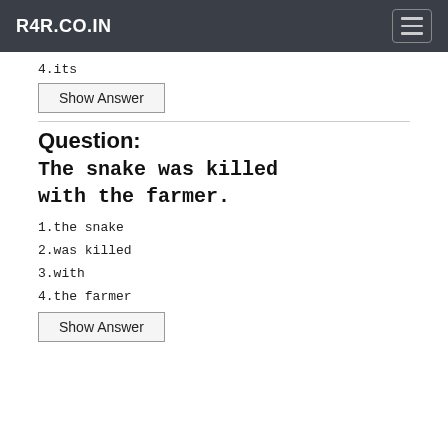R4R.CO.IN
4.its
Show Answer
Question:
The snake was killed with the farmer.
1.the snake
2.was killed
3.with
4.the farmer
Show Answer